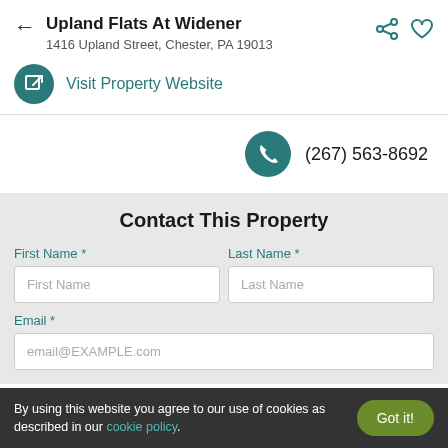Upland Flats At Widener
1416 Upland Street, Chester, PA 19013
Visit Property Website
(267) 563-8692
Contact This Property
First Name *
Last Name *
Email *
By using this website you agree to our use of cookies as described in our cookie policy.